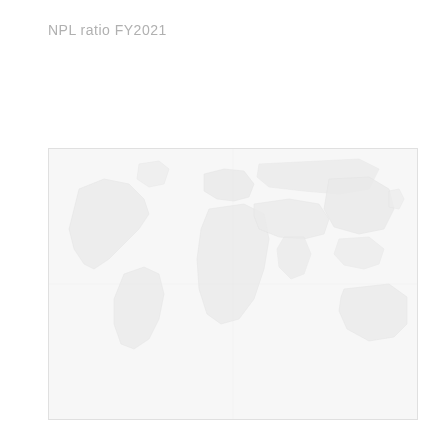NPL ratio FY2021
[Figure (map): World map showing NPL ratio for FY2021 by country/region, rendered in very light gray tones with faint geographic outlines and shading. The map is nearly washed out/very low contrast, showing continental shapes across a light background.]